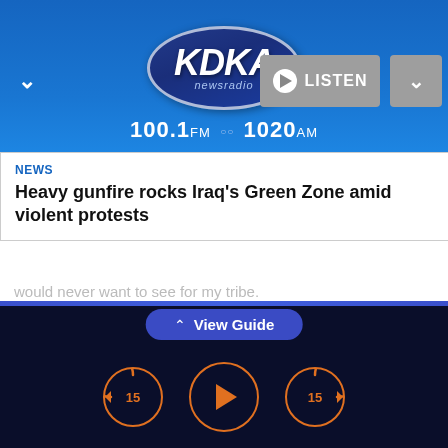[Figure (logo): KDKA Newsradio logo with oval shape, 100.1FM and 1020AM frequencies, with Listen button and navigation controls]
NEWS
Heavy gunfire rocks Iraq's Green Zone amid violent protests
---
Andy Tsubasa Field is a corps member for the Associated Press/Report for America Statehouse
[Figure (screenshot): View Guide button and audio playback controls with 15-second skip back, play, and 15-second skip forward buttons]